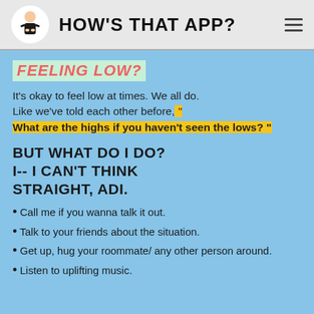HOW'S THAT APP?
FEELING LOW?
It's okay to feel low at times. We all do.
Like we've told each other before, " What are the highs if you haven't seen the lows? "
BUT WHAT DO I DO? I-- I CAN'T THINK STRAIGHT, ADI.
Call me if you wanna talk it out.
Talk to your friends about the situation.
Get up, hug your roommate/ any other person around.
Listen to uplifting music.